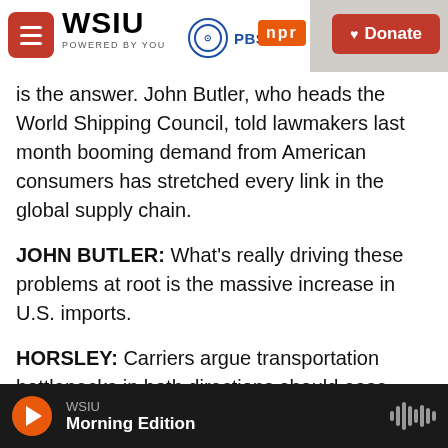WSIU POWERED BY YOU — PBS — NPR — Donate
is the answer. John Butler, who heads the World Shipping Council, told lawmakers last month booming demand from American consumers has stretched every link in the global supply chain.
JOHN BUTLER: What's really driving these problems at root is the massive increase in U.S. imports.
HORSLEY: Carriers argue transportation bottlenecks in both directions should ease once consumer demand in the U.S. returns to more normal levels. But in North Dakota, Bob Sinner's getting impatient. For months now, he's been
WSIU — Morning Edition